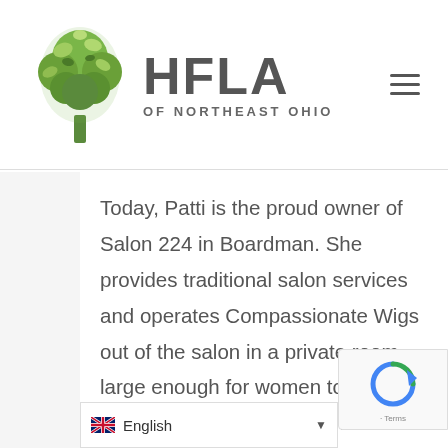[Figure (logo): HFLA of Northeast Ohio logo — green tree with leaves on left, bold dark gray 'HFLA' text, 'OF NORTHEAST OHIO' subtitle below]
Today, Patti is the proud owner of Salon 224 in Boardman. She provides traditional salon services and operates Compassionate Wigs out of the salon in a private room large enough for women to come in with their own support team as they work with Patti to choose and style their wig. HFLA's loan helped Patti ach...
[Figure (logo): reCAPTCHA badge with circular arrow icon and 'Terms' text]
English